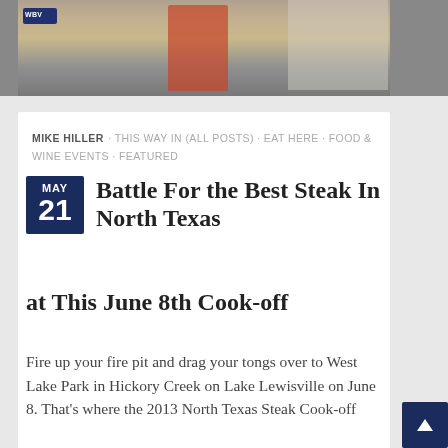[Figure (photo): Top photo strip showing an outdoor cooking event scene with people and tables]
MIKE HILLER · THIS WAY IN (ALL POSTS) · EAT HERE · FOOD & WINE EVENTS · FEATURED
Battle For the Best Steak In North Texas at This June 8th Cook-off
Fire up your fire pit and drag your tongs over to West Lake Park in Hickory Creek on Lake Lewisville on June 8. That's where the 2013 North Texas Steak Cook-off flares up at midday. It's a chance to win $2,500. If I wasn't ...
[Figure (photo): Partial bottom card showing another article image]